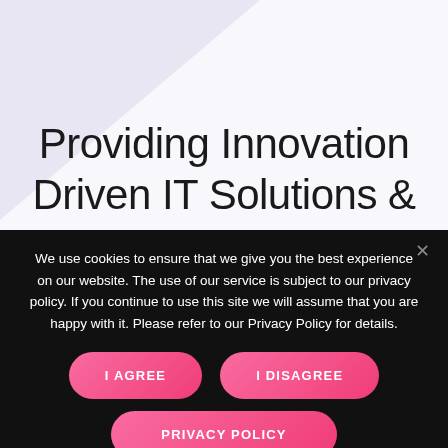[Figure (illustration): Light purple/lavender triangle shape in the top-left corner of a light background]
Providing Innovation Driven IT Solutions &
We use cookies to ensure that we give you the best experience on our website. The use of our service is subject to our privacy policy. If you continue to use this site we will assume that you are happy with it. Please refer to our Privacy Policy for details.
I AGREE
I DISAGREE
PRIVACY POLICY